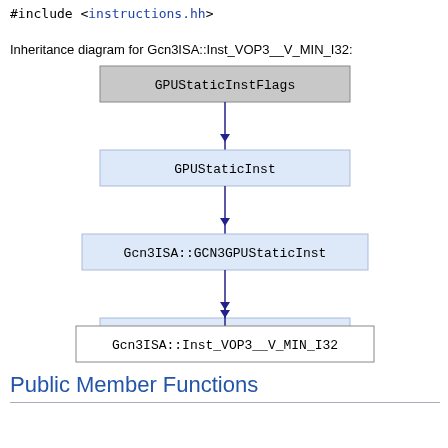#include <instructions.hh>
Inheritance diagram for Gcn3ISA::Inst_VOP3__V_MIN_I32:
[Figure (organizational-chart): Inheritance hierarchy diagram showing: GPUStaticInstFlags at top (gray box), arrow down to GPUStaticInst (light blue box), arrow down to Gcn3ISA::GCN3GPUStaticInst (light blue box), arrow down to Gcn3ISA::Inst_VOP3 (light blue box), arrow down to Gcn3ISA::Inst_VOP3__V_MIN_I32 (white box) at bottom.]
Public Member Functions
|  |  |
| --- | --- |
|  | Inst_VOP3__V_MIN_I32 (InFmt_VOP3 *) |
|  | ~Inst_VOP3__V_MIN_I32 () |
| int | getNumOperands () override |
| int | numDstRegOperands () override |